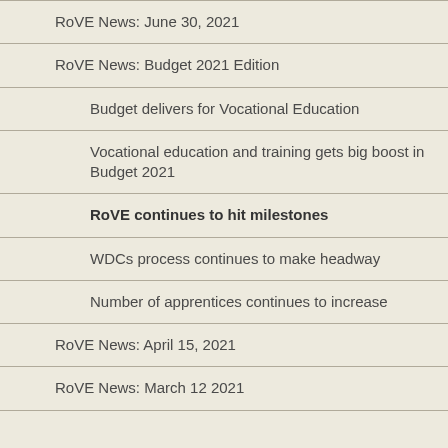RoVE News: June 30, 2021
RoVE News: Budget 2021 Edition
Budget delivers for Vocational Education
Vocational education and training gets big boost in Budget 2021
RoVE continues to hit milestones
WDCs process continues to make headway
Number of apprentices continues to increase
RoVE News: April 15, 2021
RoVE News: March 12 2021